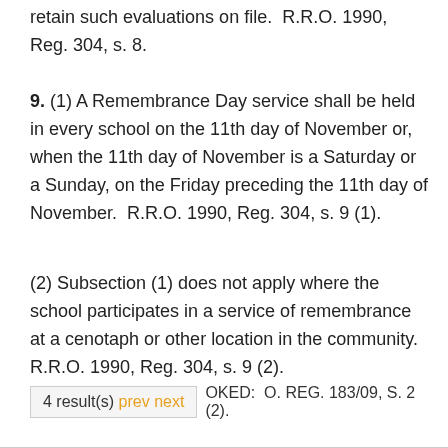retain such evaluations on file.  R.R.O. 1990, Reg. 304, s. 8.
9. (1) A Remembrance Day service shall be held in every school on the 11th day of November or, when the 11th day of November is a Saturday or a Sunday, on the Friday preceding the 11th day of November.  R.R.O. 1990, Reg. 304, s. 9 (1).
(2) Subsection (1) does not apply where the school participates in a service of remembrance at a cenotaph or other location in the community.  R.R.O. 1990, Reg. 304, s. 9 (2).
4 result(s) prev next OKED:  O. REG. 183/09, S. 2 (2).